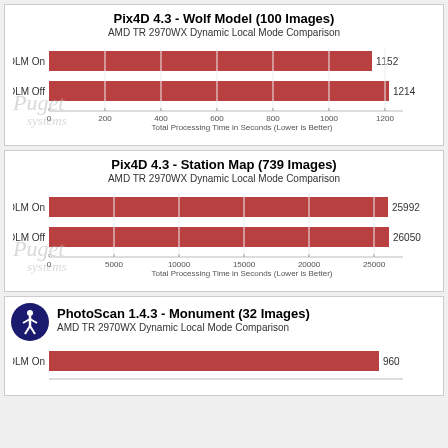[Figure (bar-chart): Pix4D 4.3 - Wolf Model (100 Images)]
[Figure (bar-chart): Pix4D 4.3 - Station Map (739 Images)]
[Figure (bar-chart): PhotoScan 1.4.3 - Monument (32 Images)]